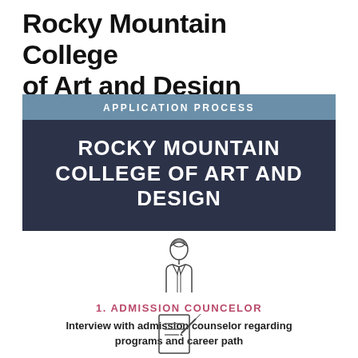Rocky Mountain College of Art and Design
[Figure (infographic): Banner with 'APPLICATION PROCESS' in a blue-grey header bar and 'ROCKY MOUNTAIN COLLEGE OF ART AND DESIGN' in large white bold text on a dark navy background.]
[Figure (illustration): Simple line-art icon of a person/counselor figure with a turban or bun hairstyle, wearing a suit jacket.]
1. ADMISSION COUNCELOR
Interview with admission counselor regarding programs and career path
[Figure (illustration): Partial line-art icon visible at bottom of page, appears to be a document or paper with a pen.]